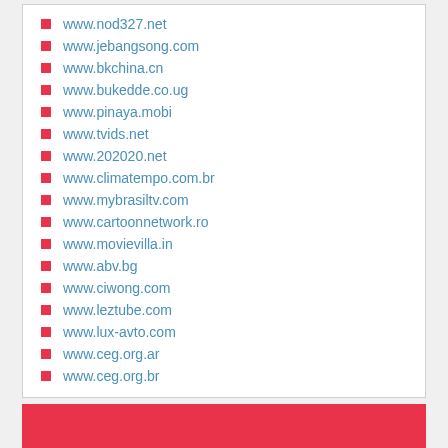www.nod327.net
www.jebangsong.com
www.bkchina.cn
www.bukedde.co.ug
www.pinaya.mobi
www.tvids.net
www.202020.net
www.climatempo.com.br
www.mybrasiltv.com
www.cartoonnetwork.ro
www.movievilla.in
www.abv.bg
www.ciwong.com
www.leztube.com
www.lux-avto.com
www.ceg.org.ar
www.ceg.org.br